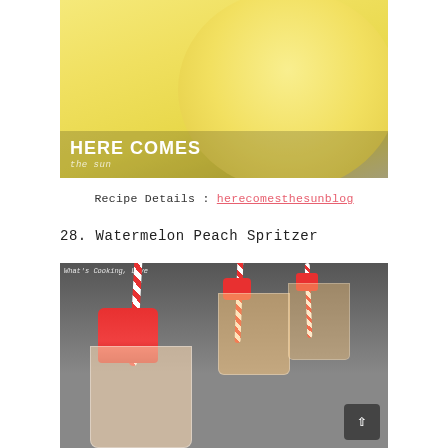[Figure (photo): Close-up photo of a yellow/cream colored round object (lemon or melon) with 'HERE COMES' text overlay and cursive subtitle text at the bottom left]
Recipe Details : herecomesthesunblog
28. Watermelon Peach Spritzer
[Figure (photo): Photo of mason jars with watermelon peach spritzer drinks, garnished with watermelon chunks on red-and-white chevron straws, with 'What's Cooking, Love' blog label in top left corner. A dark scroll-to-top button is visible in bottom right corner.]